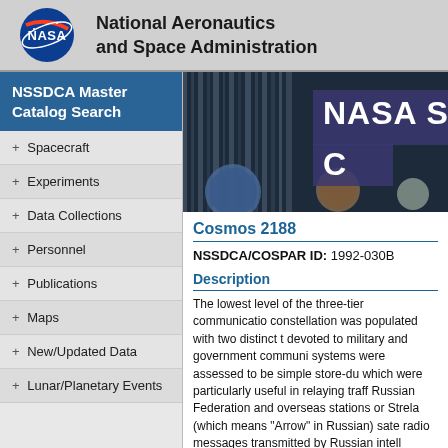National Aeronautics and Space Administration
NSSDCA Master Catalog Search
+ Spacecraft
+ Experiments
+ Data Collections
+ Personnel
+ Publications
+ Maps
+ New/Updated Data
+ Lunar/Planetary Events
[Figure (photo): NASA banner image with space-related equipment and overlay text reading NASA S... C...]
Cosmos 2188
NSSDCA/COSPAR ID: 1992-030B
Description
The lowest level of the three-tier communication constellation was populated with two distinct types devoted to military and government communications systems were assessed to be simple store-du which were particularly useful in relaying traff Russian Federation and overseas stations or Strela (which means "Arrow" in Russian) sate radio messages transmitted by Russian intell worldwide and relayed them when flying over